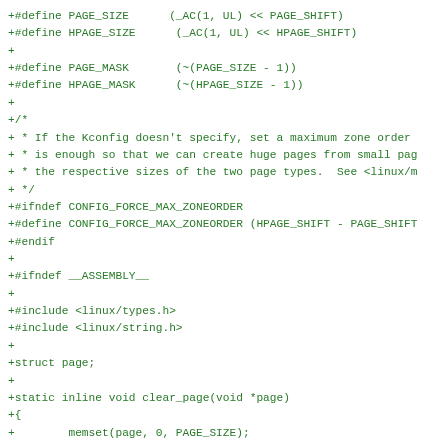+#define PAGE_SIZE      (_AC(1, UL) << PAGE_SHIFT)
+#define HPAGE_SIZE      (_AC(1, UL) << HPAGE_SHIFT)
+
+#define PAGE_MASK       (~(PAGE_SIZE - 1))
+#define HPAGE_MASK      (~(HPAGE_SIZE - 1))
+
+/*
+ * If the Kconfig doesn't specify, set a maximum zone order
+ * is enough so that we can create huge pages from small pag
+ * the respective sizes of the two page types.  See <linux/m
+ */
+#ifndef CONFIG_FORCE_MAX_ZONEORDER
+#define CONFIG_FORCE_MAX_ZONEORDER (HPAGE_SHIFT - PAGE_SHIFT
+#endif
+
+#ifndef __ASSEMBLY__
+
+#include <linux/types.h>
+#include <linux/string.h>
+
+struct page;
+
+static inline void clear_page(void *page)
+{
+        memset(page, 0, PAGE_SIZE);